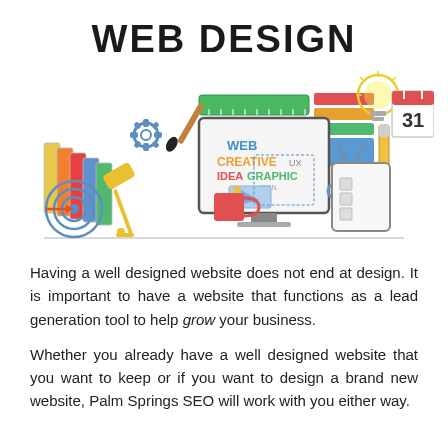WEB DESIGN
[Figure (illustration): Web design themed illustration with icons: computer monitor showing 'WEB CREATIVE IDEA GRAPHIC UX ICON', paint brush, gear, lamp, ruler, color swatches, target/bullseye, scissors, pencil, tablet device, coffee mug, magnifier, calendar showing 31, light bulb.]
Having a well designed website does not end at design. It is important to have a website that functions as a lead generation tool to help grow your business.
Whether you already have a well designed website that you want to keep or if you want to design a brand new website, Palm Springs SEO will work with you either way.